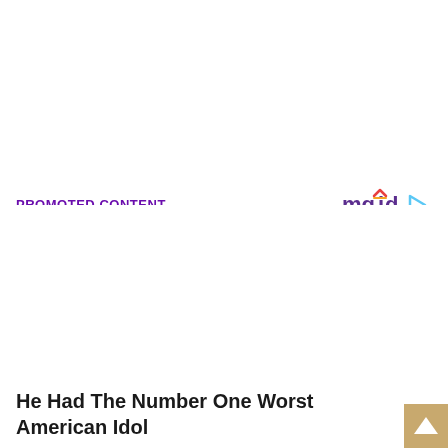PROMOTED CONTENT
[Figure (logo): mgid logo with play button icon]
He Had The Number One Worst American Idol